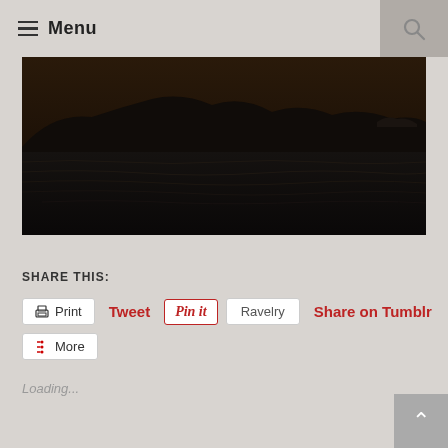Menu
[Figure (photo): Dark seascape at dusk or dawn showing choppy ocean water with mountain silhouettes on the horizon against a dark sky]
SHARE THIS:
Print  Tweet  Pin it  Ravelry  Share on Tumblr  More
Loading...